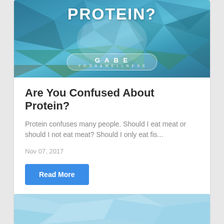[Figure (illustration): Blog post header image with blue polygonal geometric mountain landscape and white text reading PROTEIN? with GABE YOGA & WELLNESS badge]
Are You Confused About Protein?
Protein confuses many people. Should I eat meat or should I not eat meat? Should I only eat fis...
Nov 07, 2017
Read More
[Figure (illustration): Second blog post header image with light blue polygonal geometric mountain landscape, partially visible]